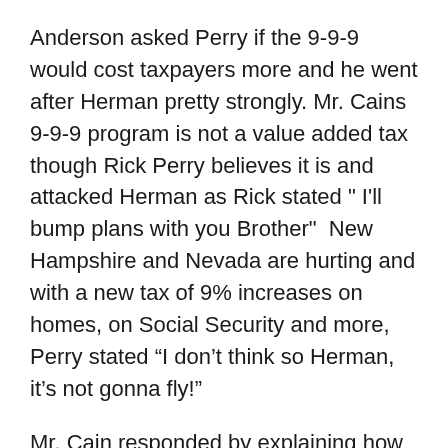Anderson asked Perry if the 9-9-9 would cost taxpayers more and he went after Herman pretty strongly. Mr. Cains 9-9-9 program is not a value added tax though Rick Perry believes it is and attacked Herman as Rick stated " I'll bump plans with you Brother"  New Hampshire and Nevada are hurting and with a new tax of 9% increases on homes, on Social Security and more, Perry stated “I don’t think so Herman, it’s not gonna fly!"
Mr. Cain responded by explaining how the plan will not increase taxes and he used the example of a loaf of bread having 5 separate taxes on it now and the 9% will take out those 5 taxes and will be replaced by the new 9% tax. As he responded Anderson told him his time was up and stated he would have another 30 seconds to which Herman asked “Tonight” which got a laugh from